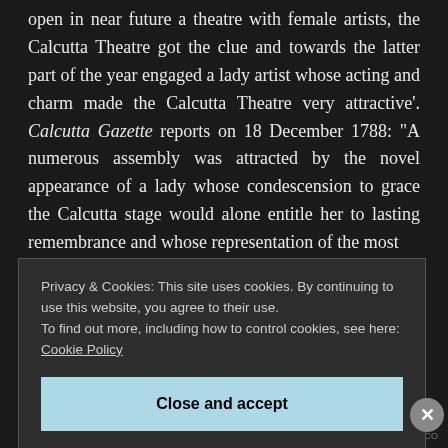open in near future a theatre with female artists, the Calcutta Theatre got the clue and towards the latter part of the year engaged a lady artist whose acting and charm made the Calcutta Theatre very attractive'. Calcutta Gazette reports on 18 December 1788: "A numerous assembly was attracted by the novel appearance of a lady whose condescension to grace the Calcutta stage would alone entitle her to lasting remembrance and whose representation of the most
Privacy & Cookies: This site uses cookies. By continuing to use this website, you agree to their use.
To find out more, including how to control cookies, see here: Cookie Policy
Close and accept
NIRBATTING.CO